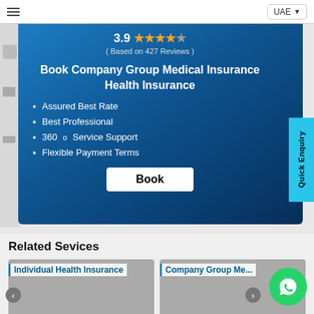UAE
Book Company Group Medical Insurance Health Insurance
3.9 ( Based on 427 Reviews )
Assured Best Rate
Best Professional
360° Service Support
Flexible Payment Terms
Book
Related Sevices
Individual Health Insurance
Company Group Me...ns